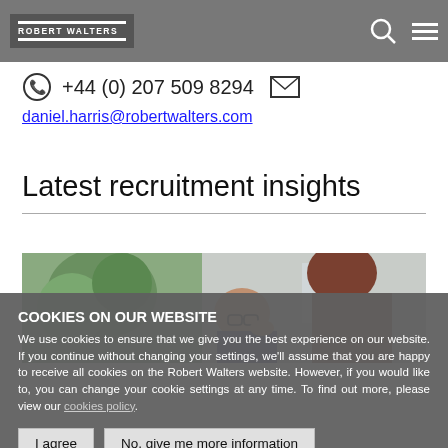ROBERT WALTERS
specialise in Private Practice, In House, Risk & Governance and Company Secretarial recruitment.
+44 (0) 207 509 8294
daniel.harris@robertwalters.com
Latest recruitment insights
[Figure (photo): Two people in an office setting, viewed from behind/side, with plants in the background]
COOKIES ON OUR WEBSITE
We use cookies to ensure that we give you the best experience on our website. If you continue without changing your settings, we'll assume that you are happy to receive all cookies on the Robert Walters website. However, if you would like to, you can change your cookie settings at any time. To find out more, please view our cookies policy.
I agree
No, give me more information